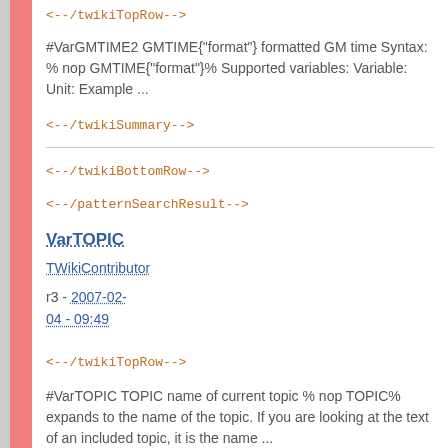<--/twikiTopRow-->
#VarGMTIME2 GMTIME{"format"} formatted GM time Syntax: % nop GMTIME{"format"}% Supported variables: Variable: Unit: Example ...
<--/twikiSummary-->
<--/twikiBottomRow-->
<--/patternSearchResult-->
VarTOPIC
TWikiContributor
r3 - 2007-02-04 - 09:49
<--/twikiTopRow-->
#VarTOPIC TOPIC name of current topic % nop TOPIC% expands to the name of the topic. If you are looking at the text of an included topic, it is the name ...
<--/twikiSummary-->